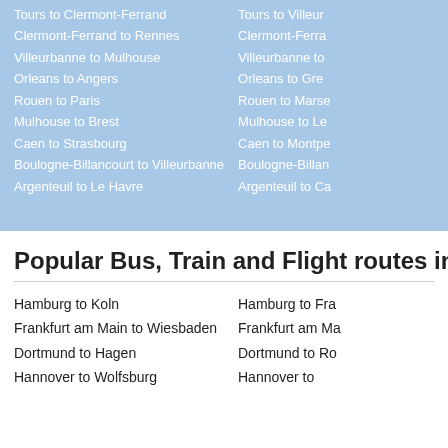Tours to Clermont-Ferrand
Clermont-Ferrand to Rennes
Villeurbanne to Mulhouse
Orleans to Angers
Rouen to Paris
Mulhouse to Brest
Caen to Strasbourg
Boulogne-Billancourt to Villeurbanne
Argenteuil to Le Havre
Tours to Villeur…
Clermont-Ferra…
Villeurbanne to…
Orleans to Gre…
Rouen to Marse…
Mulhouse to Le…
Caen to Montpe…
Boulogne-Billan…
Argenteuil to Ca…
Popular Bus, Train and Flight routes in Germa…
Hamburg to Koln
Frankfurt am Main to Wiesbaden
Dortmund to Hagen
Hannover to Wolfsburg
Hamburg to Fra…
Frankfurt am Ma…
Dortmund to Ro…
Hannover to…